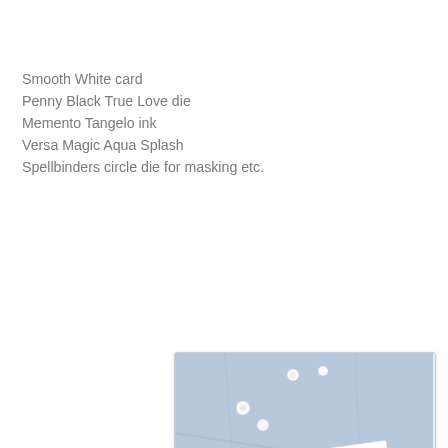Smooth White card
Penny Black True Love die
Memento Tangelo ink
Versa Magic Aqua Splash
Spellbinders circle die for masking etc.
[Figure (photo): A white greeting card with the word 'Love' in script die-cut lettering, featuring an orange circular ink blot with aqua teal halo effect, placed on a marble surface with scattered rhinestone crystals around it.]
[Figure (photo): Partial view of another card or crafting step on a marble surface with rhinestone crystals, showing the beginning of a second photo in the sequence.]